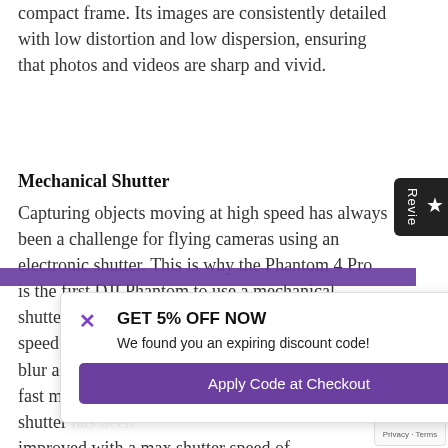compact frame. Its images are consistently detailed with low distortion and low dispersion, ensuring that photos and videos are sharp and vivid.
Mechanical Shutter
Capturing objects moving at high speed has always been a challenge for flying cameras using an electronic shutter. This is why the Phantom 4 Pro is the first DJI Phantom to use a mechanical shutter and a large-aperture prime lens to reduce shutter speed distortion and blur and so it can shoot fast moving subjects. The shutter has been improved with a max shutter speed of 1/8000-second, and a there is Burst Mode shoot capable of shooting 14 fps at 20
[Figure (other): GET 5% OFF NOW popup overlay with close X button, subtitle 'We found you an expiring discount code!', and 'Apply Code at Checkout' purple button]